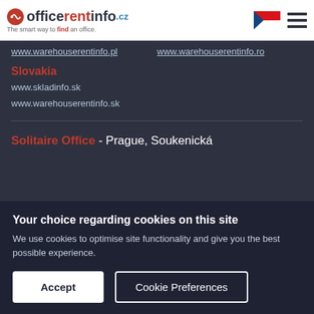officerentinfo.cz - The smart way to find an office.
www.warehouserentinfo.pl	www.warehouserentinfo.ro
Slovakia
www.skladinfo.sk
www.warehouserentinfo.sk
Solitaire Office - Prague, Soukenická
Your choice regarding cookies on this site
We use cookies to optimise site functionality and give you the best possible experience.
Accept	Cookie Preferences